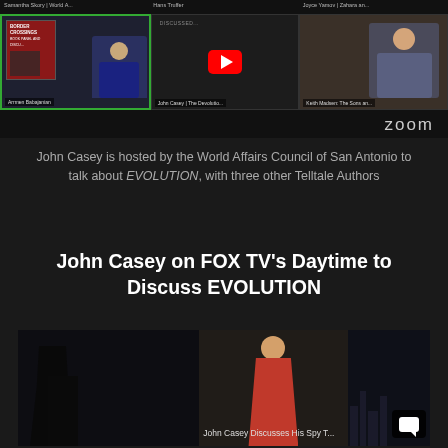[Figure (screenshot): Zoom video call screenshot showing multiple participants: Arrmen Babajanian (Border Crossings book panel), John Casey (The Devolution), Keith Madsen (The Sons and...), Samantha Skory (World A...), Hans Truffer, Joyce Yamov (Zahara an...). YouTube play button overlay visible in center.]
John Casey is hosted by the World Affairs Council of San Antonio to talk about EVOLUTION, with three other Telltale Authors
John Casey on FOX TV's Daytime to Discuss EVOLUTION
[Figure (screenshot): Video thumbnail showing 'John Casey Discusses His Spy T...' with a silhouette figure on the left, a woman in red dress in the center, and a city skyline on the right. Chat icon visible in bottom right corner.]